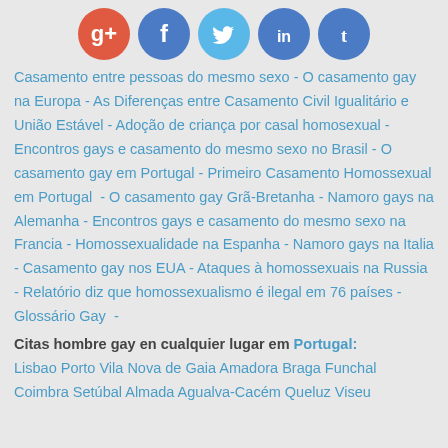[Figure (other): Row of five social media icon circles: Google+, Facebook, Twitter, LinkedIn, Tumblr]
Casamento entre pessoas do mesmo sexo - O casamento gay na Europa - As Diferenças entre Casamento Civil Igualitário e União Estável - Adoção de criança por casal homosexual - Encontros gays e casamento do mesmo sexo no Brasil - O casamento gay em Portugal - Primeiro Casamento Homossexual em Portugal  - O casamento gay Grã-Bretanha - Namoro gays na Alemanha - Encontros gays e casamento do mesmo sexo na Francia - Homossexualidade na Espanha - Namoro gays na Italia - Casamento gay nos EUA - Ataques à homossexuais na Russia - Relatório diz que homossexualismo é ilegal em 76 países - Glossário Gay  -
Citas hombre gay en cualquier lugar em Portugal:
Lisbao Porto Vila Nova de Gaia Amadora Braga Funchal Coimbra Setúbal Almada Agualva-Cacém Queluz Viseu